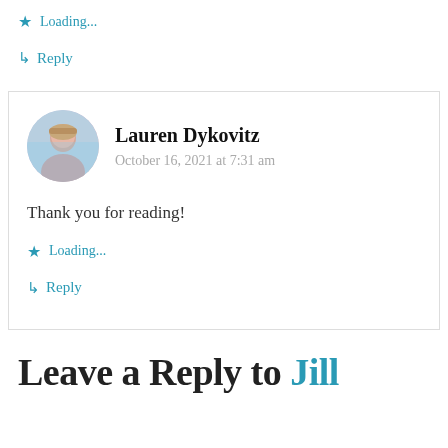Loading...
↳ Reply
Lauren Dykovitz
October 16, 2021 at 7:31 am
Thank you for reading!
Loading...
↳ Reply
Leave a Reply to Jill